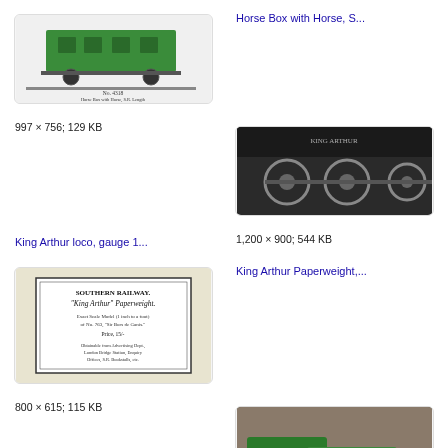[Figure (photo): Green horse box railway wagon with text 'No. 4318 Horse Box with Horse, S.R. Length 5½']
Horse Box with Horse, S...
997 × 756; 129 KB
[Figure (photo): King Arthur locomotive undercarriage/wheels, dark photo]
King Arthur loco, gauge 1...
1,200 × 900; 544 KB
[Figure (photo): Southern Railway 'King Arthur' Paperweight advertisement text]
King Arthur Paperweight,...
800 × 615; 115 KB
[Figure (photo): Multiple green locomotives SR 1759 arranged together, overhead view]
Locomotive SR 1759, Ho...
1,600 × 1,200; 1.35 MB
[Figure (photo): Black and white photo of steam locomotive, partial view]
[Figure (photo): Black and white photo of steam locomotive at station, partial view]